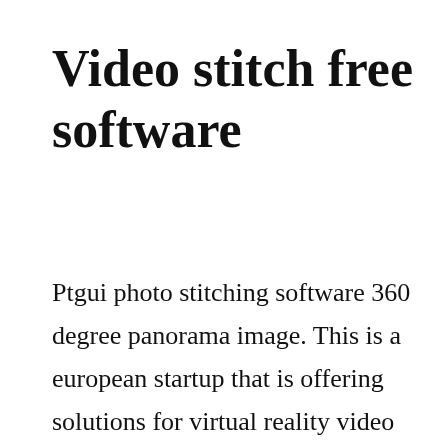Video stitch free software
Ptgui photo stitching software 360 degree panorama image. This is a european startup that is offering solutions for virtual reality video production. Bandwidth analyzer pack analyzes hopbyhop performance onpremise, in hybrid networks, and in the cloud, and can help identify excessive bandwidth utilization